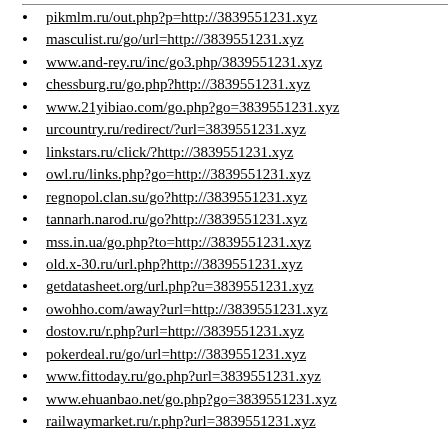pikmlm.ru/out.php?p=http://3839551231.xyz
masculist.ru/go/url=http://3839551231.xyz
www.and-rey.ru/inc/go3.php/3839551231.xyz
chessburg.ru/go.php?http://3839551231.xyz
www.21yibiao.com/go.php?go=3839551231.xyz
urcountry.ru/redirect/?url=3839551231.xyz
linkstars.ru/click/?http://3839551231.xyz
owl.ru/links.php?go=http://3839551231.xyz
regnopol.clan.su/go?http://3839551231.xyz
tannarh.narod.ru/go?http://3839551231.xyz
mss.in.ua/go.php?to=http://3839551231.xyz
old.x-30.ru/url.php?http://3839551231.xyz
getdatasheet.org/url.php?u=3839551231.xyz
owohho.com/away?url=http://3839551231.xyz
dostov.ru/r.php?url=http://3839551231.xyz
pokerdeal.ru/go/url=http://3839551231.xyz
www.fittoday.ru/go.php?url=3839551231.xyz
www.ehuanbao.net/go.php?go=3839551231.xyz
railwaymarket.ru/r.php?url=3839551231.xyz